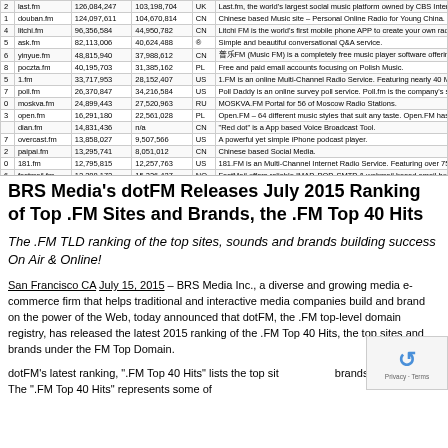| # | Domain | Unique Visitors | Reach | CC | Description |
| --- | --- | --- | --- | --- | --- |
| 2 | last.fm | 126,084,247 | 103,198,704 | UK | Last.fm, the world's largest social music platform owned by CBS Interactive. |
| 1 | douban.fm | 124,097,611 | 104,670,814 | CN | Chinese based Music site – Personal Online Radio for Young China. |
| 4 | litchi.fm | 96,356,584 | 44,950,782 | CN | Litchi FM is the world's first mobile phone APP to create your own radio station |
| 5 | ask.fm | 82,113,006 | 40,624,488 | ® | Simple and beautiful conversational Q&A service. |
| 6 | yinyue.fm | 48,815,940 | 37,988,612 | CN | 普乐FM (Music FM) is a completely free music player software offering new user |
| 8 | poczta.fm | 40,195,703 | 31,385,162 | PL | Free and paid email accounts focusing on Polish Music. |
| 5 | 1.fm | 33,717,953 | 28,152,407 | US | 1.FM is an online Multi-Channel Radio Service. Featuring nearly 40 Music Format |
| 7 | poll.fm | 26,370,847 | 34,216,584 | US | Poll Daddy is an online survey poll service. Poll.fm is the company's short URL fo |
| 0 | moskva.fm | 24,899,443 | 27,520,963 | RU | MOSKVA.FM Portal for 56 of Moscow Radio Stations. |
| 3 | open.fm | 16,291,180 | 22,561,028 | PL | Open.FM – 64 different music styles that suit any taste. Open.FM has about 2 r |
|  | dian.fm | 14,831,436 | n/a | CN | "Red dot" is a App based Voice Broadcast Tool. |
| 7 | overcast.fm | 13,858,027 | 9,507,566 | US | A powerful yet simple iPhone podcast player. |
| 2 | paipai.fm | 13,295,741 | 8,051,012 | CN | Chinese based Social Media. |
| 0 | 181.fm | 12,795,815 | 12,257,763 | US | 181.FM is an Multi-Channel Internet Radio Service. Featuring over 75 Channels  |
| 6 | fastmail.fm | 12,288,172 | 15,336,427 | NO | FastMail offers reliable IMAP, POP, SMTP & webmail based email hosting service |
| 1 | di.fm | 12,058,969 | 5,547,511 | US | Digitally Imported streams the world's most addictive electronic music. |
BRS Media's dotFM Releases July 2015 Ranking of Top .FM Sites and Brands, the .FM Top 40 Hits
The .FM TLD ranking of the top sites, sounds and brands building success On Air & Online!
San Francisco CA July 15, 2015 – BRS Media Inc., a diverse and growing media e-commerce firm that helps traditional and interactive media companies build and brand on the power of the Web, today announced that dotFM, the .FM top-level domain registry, has released the latest 2015 ranking of the .FM Top 40 Hits, the top sites and brands under the FM Top Domain.
dotFM's latest ranking, ".FM Top 40 Hits" lists the top sites and brands under dotFM. The ".FM Top 40 Hits" represents some of